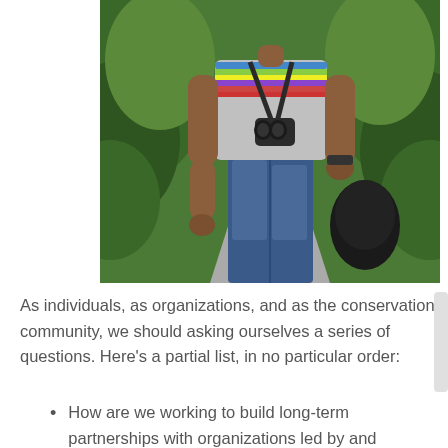[Figure (photo): A man standing on a path outdoors, wearing a gray t-shirt with colorful stripes, jeans, and a watch. He has binoculars hanging around his neck and is holding a black bag. Greenery and a path are visible in the background.]
As individuals, as organizations, and as the conservation community, we should asking ourselves a series of questions. Here’s a partial list, in no particular order:
How are we working to build long-term partnerships with organizations led by and